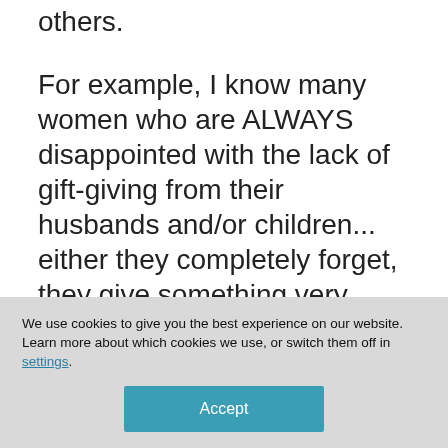others.
For example, I know many women who are ALWAYS disappointed with the lack of gift-giving from their husbands and/or children... either they completely forget, they give something very impersonal, or they buy something in about the last minute...
We use cookies to give you the best experience on our website.
Learn more about which cookies we use, or switch them off in settings.
Accept
As someone whose husband is